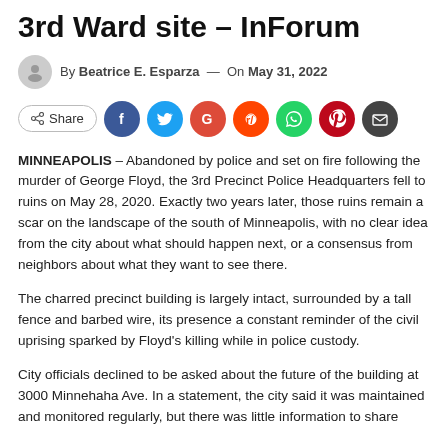3rd Ward site – InForum
By Beatrice E. Esparza — On May 31, 2022
[Figure (infographic): Social share buttons row: Share button, Facebook, Twitter, Google, Reddit, WhatsApp, Pinterest, Email]
MINNEAPOLIS – Abandoned by police and set on fire following the murder of George Floyd, the 3rd Precinct Police Headquarters fell to ruins on May 28, 2020. Exactly two years later, those ruins remain a scar on the landscape of the south of Minneapolis, with no clear idea from the city about what should happen next, or a consensus from neighbors about what they want to see there.
The charred precinct building is largely intact, surrounded by a tall fence and barbed wire, its presence a constant reminder of the civil uprising sparked by Floyd's killing while in police custody.
City officials declined to be asked about the future of the building at 3000 Minnehaha Ave. In a statement, the city said it was maintained and monitored regularly, but there was little information to share